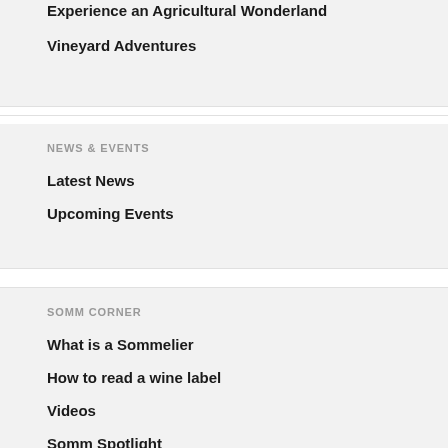Experience an Agricultural Wonderland
Vineyard Adventures
NEWS & EVENTS
Latest News
Upcoming Events
SOMM CORNER
What is a Sommelier
How to read a wine label
Videos
Somm Spotlight
FOUNDATION
Foundation